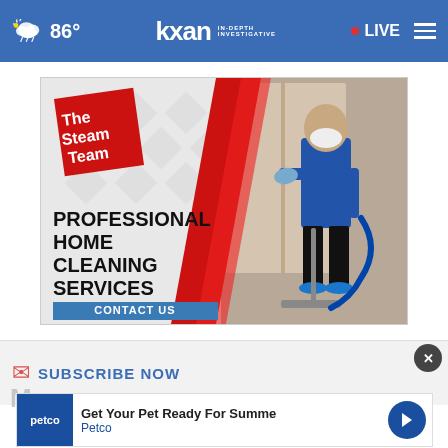☁ 86° | KXAN IN-DEPTH INVESTIGATIVE | • LIVE
[Figure (illustration): The Steam Team advertisement: red diamond logo badge with 'The Steam Team' text, white diamond-pattern background, PROFESSIONAL HOME CLEANING SERVICES headline, CONTACT US blue CTA button, worker in blue uniform with mask and gloves holding cleaning equipment]
SUBSCRIBE NOW
[Figure (illustration): Petco advertisement: 'Get Your Pet Ready For Summe' headline with Petco branding and blue arrow navigation icon]